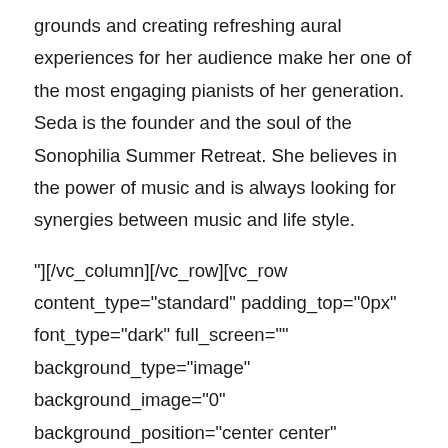grounds and creating refreshing aural experiences for her audience make her one of the most engaging pianists of her generation. Seda is the founder and the soul of the Sonophilia Summer Retreat. She believes in the power of music and is always looking for synergies between music and life style.
"][/vc_column][/vc_row][vc_row content_type="standard" padding_top="0px" font_type="dark" full_screen="" background_type="image" background_image="0" background_position="center center" background_repeat="no-repeat" background_size="cover" parallax="" video_bg_img="0" overlay_color="#000000"